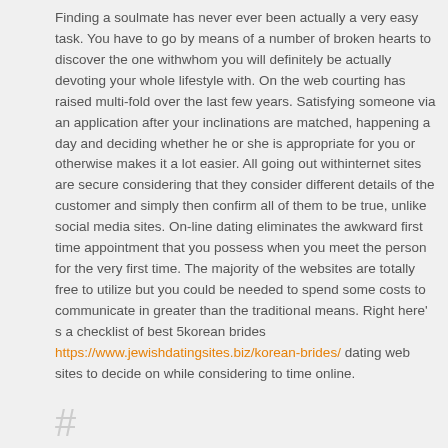Finding a soulmate has never ever been actually a very easy task. You have to go by means of a number of broken hearts to discover the one withwhom you will definitely be actually devoting your whole lifestyle with. On the web courting has raised multi-fold over the last few years. Satisfying someone via an application after your inclinations are matched, happening a day and deciding whether he or she is appropriate for you or otherwise makes it a lot easier. All going out withinternet sites are secure considering that they consider different details of the customer and simply then confirm all of them to be true, unlike social media sites. On-line dating eliminates the awkward first time appointment that you possess when you meet the person for the very first time. The majority of the websites are totally free to utilize but you could be needed to spend some costs to communicate in greater than the traditional means. Right here' s a checklist of best 5korean brides https://www.jewishdatingsites.biz/korean-brides/ dating web sites to decide on while considering to time online.
#
1 KoreanCupid.com